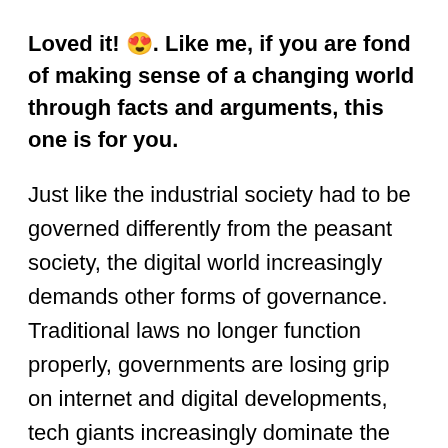Loved it! 😍. Like me, if you are fond of making sense of a changing world through facts and arguments, this one is for you.
Just like the industrial society had to be governed differently from the peasant society, the digital world increasingly demands other forms of governance. Traditional laws no longer function properly, governments are losing grip on internet and digital developments, tech giants increasingly dominate the digital playing field, economies are rapidly changing from traditional to digital